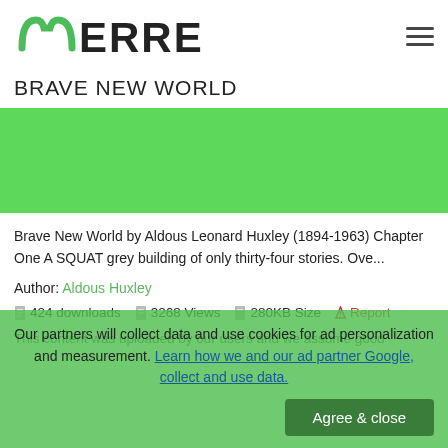ERRE (logo)
BRAVE NEW WORLD
[Figure (illustration): Green banner/placeholder image for Brave New World book cover]
Brave New World by Aldous Leonard Huxley (1894-1963) Chapter One A SQUAT grey building of only thirty-four stories. Ove...
Author: Aldous Huxley
424 downloads   3268 Views   280KB Size   Report
This content was uploaded by our users and we assume good
Our partners will collect data and use cookies for ad personalization and measurement. Learn how we and our ad partner Google, collect and use data.